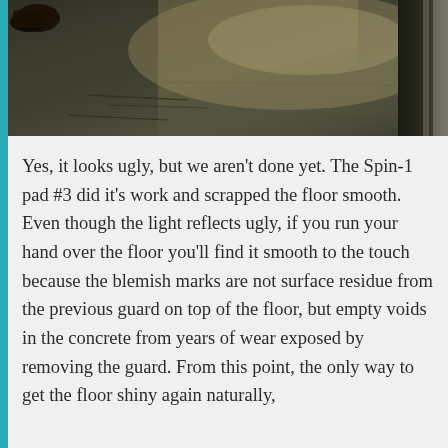[Figure (photo): A photo of a dark concrete or stone floor with reflective light, showing a shoe/foot in the upper left corner and what appears to be a window or door frame on the right side.]
Yes, it looks ugly, but we aren't done yet. The Spin-1 pad #3 did it's work and scrapped the floor smooth. Even though the light reflects ugly, if you run your hand over the floor you'll find it smooth to the touch because the blemish marks are not surface residue from the previous guard on top of the floor, but empty voids in the concrete from years of wear exposed by removing the guard. From this point, the only way to get the floor shiny again naturally, without stoivin more should be them in die